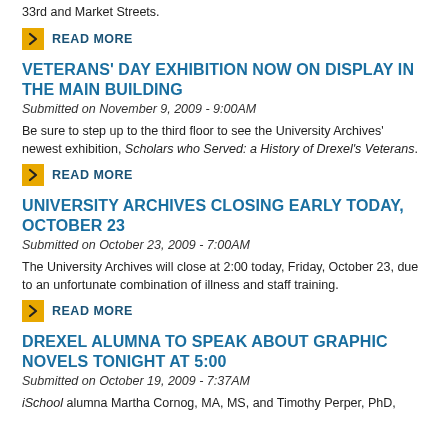33rd and Market Streets.
READ MORE
VETERANS' DAY EXHIBITION NOW ON DISPLAY IN THE MAIN BUILDING
Submitted on November 9, 2009 - 9:00AM
Be sure to step up to the third floor to see the University Archives' newest exhibition, Scholars who Served: a History of Drexel's Veterans.
READ MORE
UNIVERSITY ARCHIVES CLOSING EARLY TODAY, OCTOBER 23
Submitted on October 23, 2009 - 7:00AM
The University Archives will close at 2:00 today, Friday, October 23, due to an unfortunate combination of illness and staff training.
READ MORE
DREXEL ALUMNA TO SPEAK ABOUT GRAPHIC NOVELS TONIGHT AT 5:00
Submitted on October 19, 2009 - 7:37AM
iSchool alumna Martha Cornog, MA, MS, and Timothy Perper, PhD,